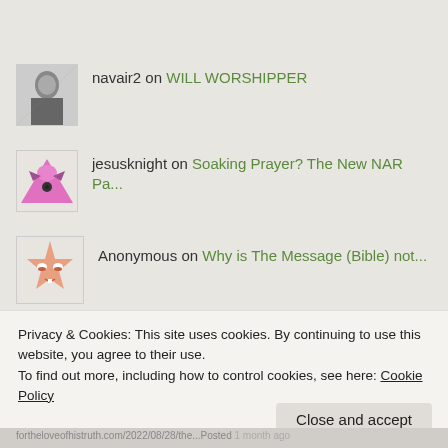[Figure (illustration): Partial avatar of a pink smiling monster face at top of page]
navair2 on WILL WORSHIPPER
[Figure (photo): Black and white photo avatar of a person]
jesusknight on Soaking Prayer? The New NAR Pa...
[Figure (illustration): Pink triangle star avatar with angry eyes]
Anonymous on Why is The Message (Bible) not...
[Figure (illustration): Peach/salmon colored star-shaped avatar with sleepy eyes]
Privacy & Cookies: This site uses cookies. By continuing to use this website, you agree to their use. To find out more, including how to control cookies, see here: Cookie Policy
fortheloveofhistruth.com/2022/08/28/the...Posted 1 month ago